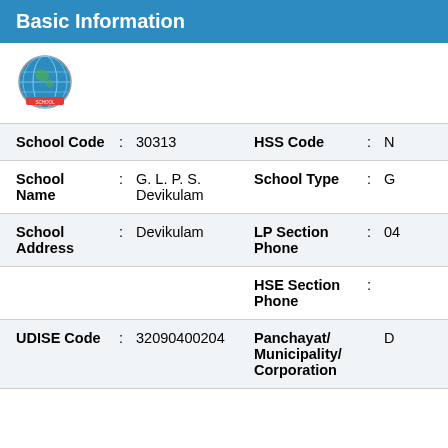Basic Information
[Figure (logo): Globe/school logo with blue world map design]
| Field | : | Value | Field | : | Value |
| --- | --- | --- | --- | --- | --- |
| School Code | : | 30313 | HSS Code | : | N |
| School Name | : | G. L. P. S. Devikulam | School Type | : | G |
| School Address | : | Devikulam | LP Section Phone | : | 04 |
|  |  |  | HSE Section Phone | : |  |
| UDISE Code | : | 32090400204 | Panchayat/ Municipality/ Corporation |  | D |